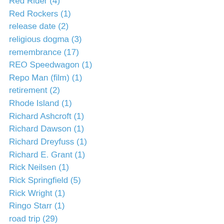Red Rider (4)
Red Rockers (1)
release date (2)
religious dogma (3)
remembrance (17)
REO Speedwagon (1)
Repo Man (film) (1)
retirement (2)
Rhode Island (1)
Richard Ashcroft (1)
Richard Dawson (1)
Richard Dreyfuss (1)
Richard E. Grant (1)
Rick Neilsen (1)
Rick Springfield (5)
Rick Wright (1)
Ringo Starr (1)
road trip (29)
roadside attractions (6)
Rob Zombie (3)